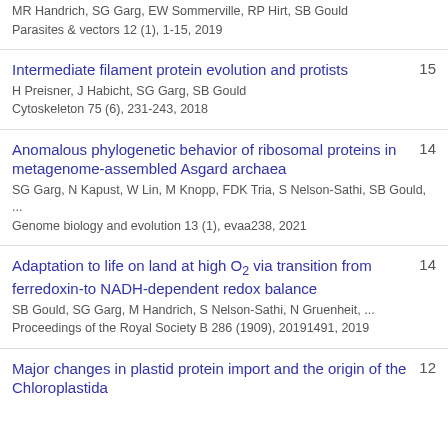MR Handrich, SG Garg, EW Sommerville, RP Hirt, SB Gould
Parasites & vectors 12 (1), 1-15, 2019
Intermediate filament protein evolution and protists
H Preisner, J Habicht, SG Garg, SB Gould
Cytoskeleton 75 (6), 231-243, 2018
15
Anomalous phylogenetic behavior of ribosomal proteins in metagenome-assembled Asgard archaea
SG Garg, N Kapust, W Lin, M Knopp, FDK Tria, S Nelson-Sathi, SB Gould, ...
Genome biology and evolution 13 (1), evaa238, 2021
14
Adaptation to life on land at high O2 via transition from ferredoxin-to NADH-dependent redox balance
SB Gould, SG Garg, M Handrich, S Nelson-Sathi, N Gruenheit, ...
Proceedings of the Royal Society B 286 (1909), 20191491, 2019
14
Major changes in plastid protein import and the origin of the Chloroplastida
12